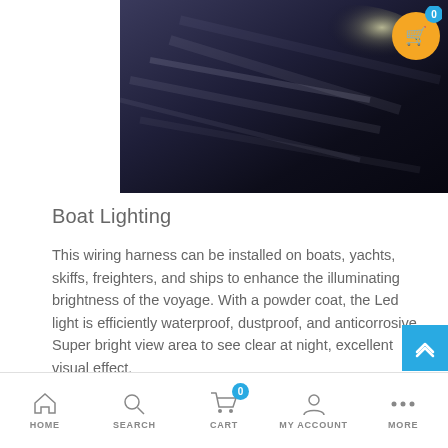[Figure (photo): Dark image with streaks of light, possibly a boat or vehicle in motion at night with bright light source]
[Figure (photo): Shopping cart icon button (orange circle) with badge showing 0]
Boat Lighting
This wiring harness can be installed on boats, yachts, skiffs, freighters, and ships to enhance the illuminating brightness of the voyage. With a powder coat, the Led light is efficiently waterproof, dustproof, and anticorrosive. Super bright view area to see clear at night, excellent visual effect.
[Figure (photo): Bright LED light illuminating a boat at night, dark background with glowing light source and boat outline visible]
HOME   SEARCH   CART   MY ACCOUNT   MORE